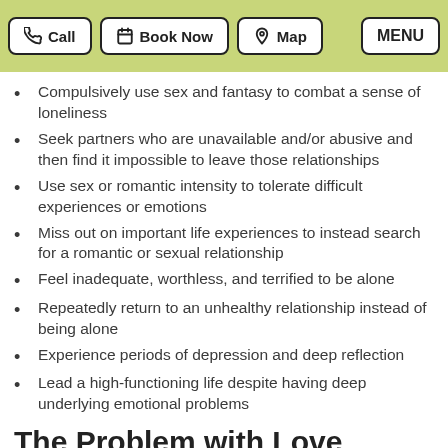Call | Book Now | Map | MENU
Compulsively use sex and fantasy to combat a sense of loneliness
Seek partners who are unavailable and/or abusive and then find it impossible to leave those relationships
Use sex or romantic intensity to tolerate difficult experiences or emotions
Miss out on important life experiences to instead search for a romantic or sexual relationship
Feel inadequate, worthless, and terrified to be alone
Repeatedly return to an unhealthy relationship instead of being alone
Experience periods of depression and deep reflection
Lead a high-functioning life despite having deep underlying emotional problems
The Problem with Love